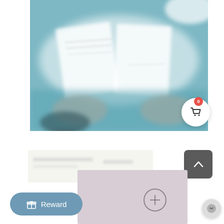[Figure (photo): Blurred overhead photo of two hands holding open a white folded document or book over a teal/blue surface with a white plate partially visible in the upper right corner.]
[Figure (screenshot): UI shopping cart button: white circle with a dark cart icon and a red badge showing '0'.]
[Figure (photo): Partial blurred image of a whitish/light grey card or paper, visible at the bottom-left area.]
[Figure (screenshot): Dark grey rounded square scroll-to-top button with a white upward chevron arrow.]
[Figure (photo): Partial blurred image of a pink/mauve card with a circular plus/zoom icon in the center-right.]
[Figure (screenshot): Reward button: rounded pill shape in muted blue-grey with a gift box icon and the text 'Reward'.]
[Figure (screenshot): Chat bubble button: small circle with a smiley/chat icon in grey tones.]